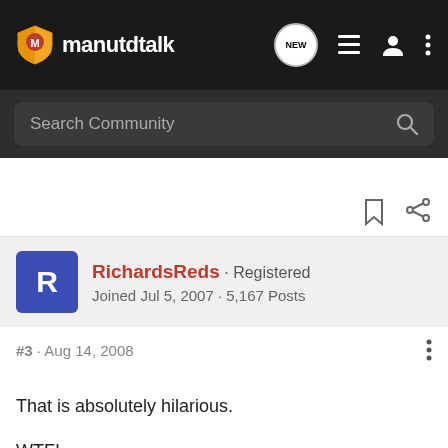manutdtalk
Search Community
RichardsReds · Registered
Joined Jul 5, 2007 · 5,167 Posts
#3 · Aug 14, 2008
That is absolutely hilarious.

WTF!

This is just totally ridiculous! He is officially an idiot.

And i'm not one to jump on a band wagon!